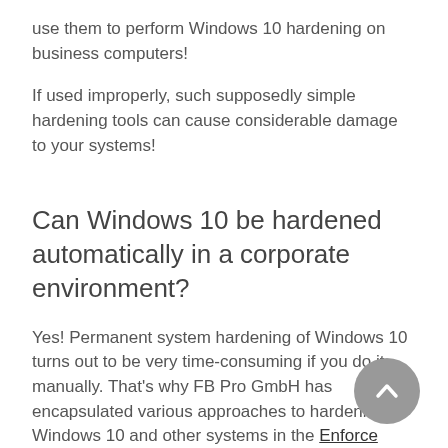use them to perform Windows 10 hardening on business computers!
If used improperly, such supposedly simple hardening tools can cause considerable damage to your systems!
Can Windows 10 be hardened automatically in a corporate environment?
Yes! Permanent system hardening of Windows 10 turns out to be very time-consuming if you do it manually. That's why FB Pro GmbH has encapsulated various approaches to hardening Windows 10 and other systems in the Enforce Administrator.
The Enforce TAP hardens individual IT systems. The Enforce Administrator is the central management tool for large operations and large organizations. Both...